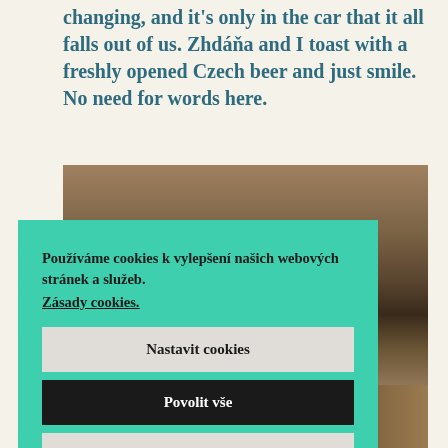changing, and it's only in the car that it all falls out of us. Zhdáňa and I toast with a freshly opened Czech beer and just smile. No need for words here.
[Figure (photo): Outdoor photograph showing a person with camera equipment in a dry grassy/brushy field environment]
Používáme cookies k vylepšení našich webových stránek a služeb. Zásady cookies.
Nastavit cookies
Povolit vše
Odmitnout vše
[Figure (photo): Partial photograph at bottom of page showing an outdoor scene with warm earthy tones]